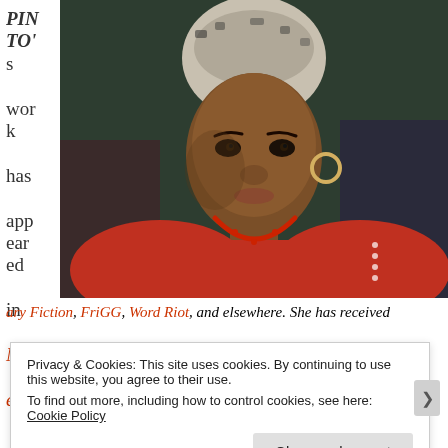PIN TO's work has appeared in Necessary Fiction, FriGG, Word Riot, and elsewhere. She has received
[Figure (photo): Portrait photo of a woman wearing a patterned headwrap and red outfit, looking at the camera]
ary Fiction, FriGG, Word Riot, and elsewhere. She has received
Privacy & Cookies: This site uses cookies. By continuing to use this website, you agree to their use. To find out more, including how to control cookies, see here: Cookie Policy